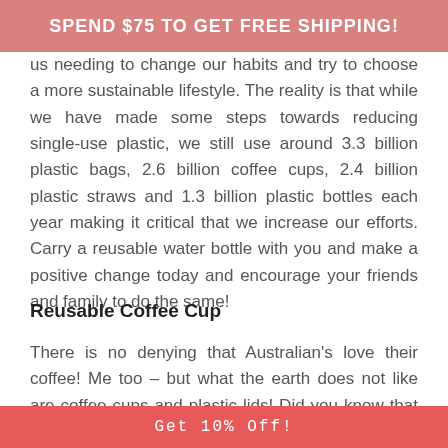SPEND $75 TO GET FREE SHIPPING!
us needing to change our habits and try to choose a more sustainable lifestyle. The reality is that while we have made some steps towards reducing single-use plastic, we still use around 3.3 billion plastic bags, 2.6 billion coffee cups, 2.4 billion plastic straws and 1.3 billion plastic bottles each year making it critical that we increase our efforts. Carry a reusable water bottle with you and make a positive change today and encourage your friends and family to do the same!
Reusable Coffee Cup
There is no denying that Australian's love their coffee! Me too – but what the earth does not like are coffee cups and plastic lids! Did you know that coffee cups
Get 10% Off!